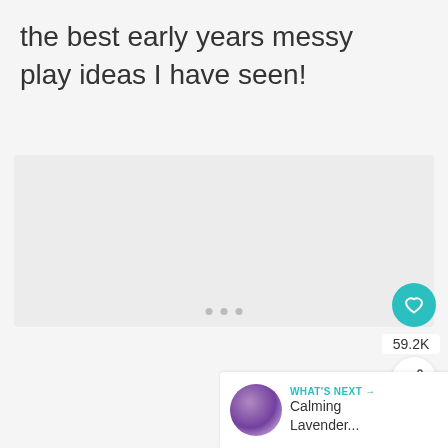the best early years messy play ideas I have seen!
[Figure (other): Blank light gray content area with three pagination dots at center bottom, representing an image carousel or slideshow placeholder]
59.2K
WHAT'S NEXT → Calming Lavender...